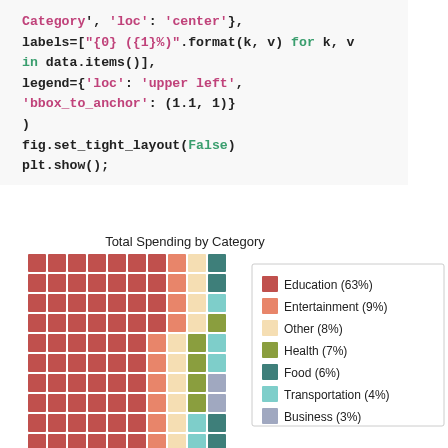Category', 'loc': 'center'},
labels=["{0} ({1}%)".format(k, v) for k, v
in data.items()],
legend={'loc': 'upper left',
'bbox_to_anchor': (1.1, 1)}
)
fig.set_tight_layout(False)
plt.show();
[Figure (other): Waffle chart showing total spending by category. Education 63%, Entertainment 9%, Other 8%, Health 7%, Food 6%, Transportation 4%, Business 3%.]